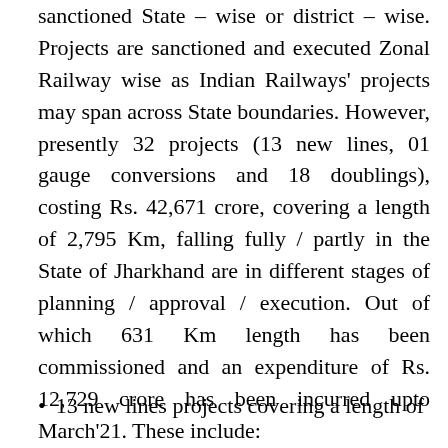sanctioned State – wise or district – wise. Projects are sanctioned and executed Zonal Railway wise as Indian Railways' projects may span across State boundaries. However, presently 32 projects (13 new lines, 01 gauge conversions and 18 doublings), costing Rs. 42,671 crore, covering a length of 2,795 Km, falling fully / partly in the State of Jharkhand are in different stages of planning / approval / execution. Out of which 631 Km length has been commissioned and an expenditure of Rs. 12,729 crore has been incurred upto March'21. These include:
13 new lines projects covering a length of